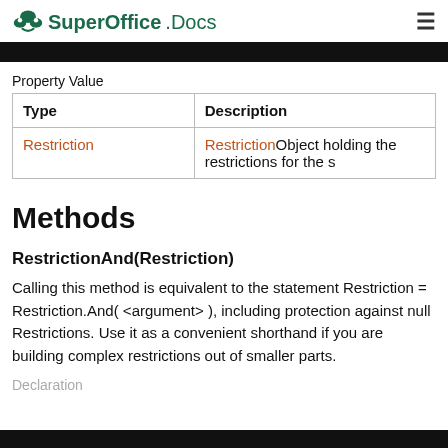SuperOffice.Docs
Property Value
| Type | Description |
| --- | --- |
| Restriction | RestrictionObject holding the restrictions for the s |
Methods
RestrictionAnd(Restriction)
Calling this method is equivalent to the statement Restriction = Restriction.And( <argument> ), including protection against null Restrictions. Use it as a convenient shorthand if you are building complex restrictions out of smaller parts.
Declaration